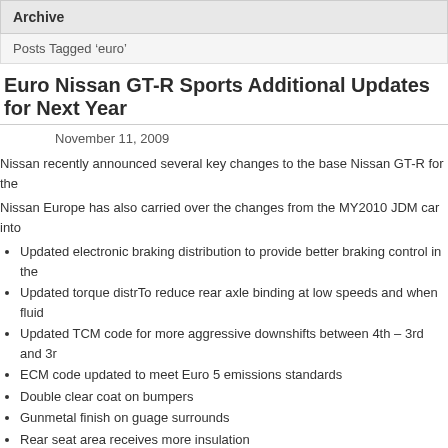Archive
Posts Tagged ‘euro’
Euro Nissan GT-R Sports Additional Updates for Next Year
November 11, 2009
Nissan recently announced several key changes to the base Nissan GT-R for the
Nissan Europe has also carried over the changes from the MY2010 JDM car into
Updated electronic braking distribution to provide better braking control in the
Updated torque distrTo reduce rear axle binding at low speeds and when fluid
Updated TCM code for more aggressive downshifts between 4th – 3rd and 3r
ECM code updated to meet Euro 5 emissions standards
Double clear coat on bumpers
Gunmetal finish on guage surrounds
Rear seat area receives more insulation
Overall a couple of positive changes that will result in a more refined GT-R come
Source: Leftlane News
GTR News, Nissan News    2011, euro, gt-r, gtr, nissan, r35
Milltek Exhaust System for the Nissan R35 GT-R